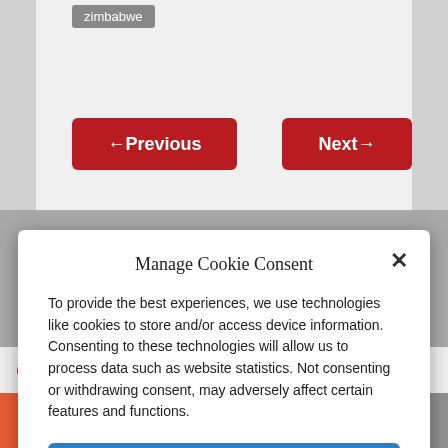zimbabwe
← Previous
Next →
Manage Cookie Consent
To provide the best experiences, we use technologies like cookies to store and/or access device information. Consenting to these technologies will allow us to process data such as website statistics. Not consenting or withdrawing consent, may adversely affect certain features and functions.
Accept
Cookie Policy   Privacy Policy
Check out Whatfinger.com, the #1